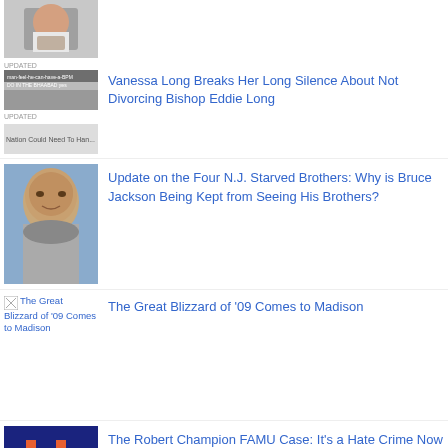[Figure (photo): Partial article thumbnail at top of page, cropped hands image]
[Figure (photo): Small thumbnail with text overlay about BPM, blurry news image]
[Figure (photo): Small thumbnail with text 'Nation Could Need To Han...']
Vanessa Long Breaks Her Long Silence About Not Divorcing Bishop Eddie Long
[Figure (photo): Blurred face of a man, Bruce Jackson related image]
Update on the Four N.J. Starved Brothers: Why is Bruce Jackson Being Kept from Seeing His Brothers?
[Figure (photo): Broken image placeholder for The Great Blizzard of '09 Comes to Madison]
The Great Blizzard of '09 Comes to Madison
[Figure (illustration): Pixel art / retro game style image on dark blue background with orange robot/monster icon]
The Robert Champion FAMU Case: It's a Hate Crime Now